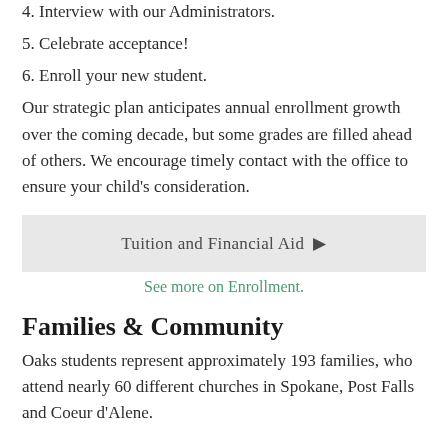4. Interview with our Administrators.
5. Celebrate acceptance!
6. Enroll your new student.
Our strategic plan anticipates annual enrollment growth over the coming decade, but some grades are filled ahead of others. We encourage timely contact with the office to ensure your child's consideration.
[Figure (other): Button link labeled 'Tuition and Financial Aid' with a right-arrow triangle]
See more on Enrollment.
Families & Community
Oaks students represent approximately 193 families, who attend nearly 60 different churches in Spokane, Post Falls and Coeur d'Alene.